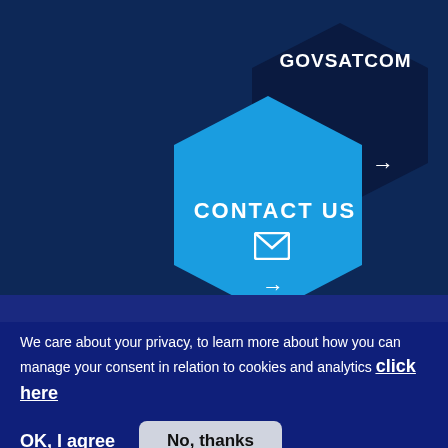[Figure (infographic): Dark navy hexagon shape containing bold white text GOVSATCOM with a right arrow below]
[Figure (infographic): Bright blue hexagon shape containing white bold text CONTACT US, an envelope icon, and a right arrow below]
[Figure (logo): Partial arc of a circular logo in yellow/white at bottom left, partially cropped]
We care about your privacy, to learn more about how you can manage your consent in relation to cookies and analytics click here
OK, I agree   No, thanks